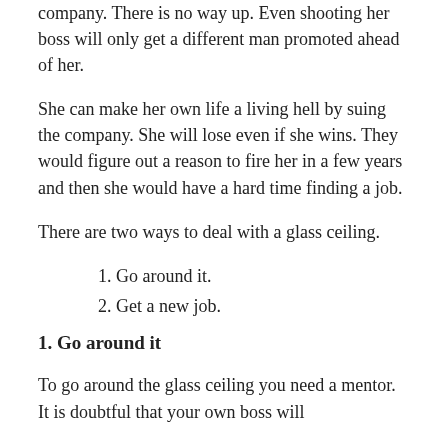company.  There is no way up.  Even shooting her boss will only get a different man promoted ahead of her.
She can make her own life a living hell by suing the company.  She will lose even if she wins.  They would figure out a reason to fire her in a few years and then she would have a hard time finding a job.
There are two ways to deal with a glass ceiling.
1. Go around it.
2. Get a new job.
1. Go around it
To go around the glass ceiling you need a mentor.  It is doubtful that your own boss will